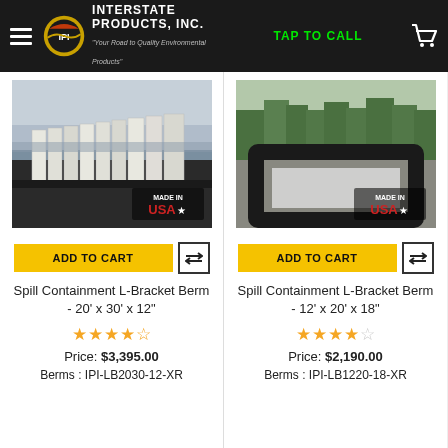Interstate Products, Inc. — TAP TO CALL
[Figure (photo): Photo of large white L-bracket spill containment berm panels arranged in rows on black liner outdoors, with 'MADE IN USA' badge]
ADD TO CART
Spill Containment L-Bracket Berm - 20' x 30' x 12"
Price: $3,395.00
Berms : IPI-LB2030-12-XR
[Figure (photo): Photo of black L-bracket spill containment berm set up as a square on a gravel surface outdoors with trees in background, with 'MADE IN USA' badge]
ADD TO CART
Spill Containment L-Bracket Berm - 12' x 20' x 18"
Price: $2,190.00
Berms : IPI-LB1220-18-XR